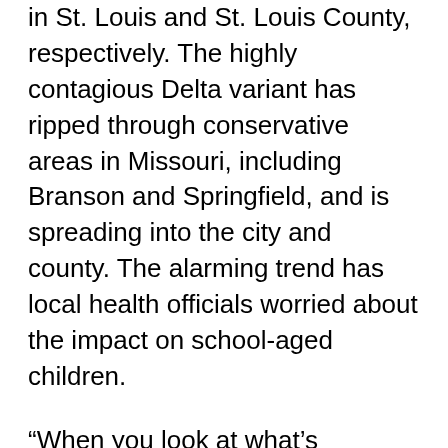in St. Louis and St. Louis County, respectively. The highly contagious Delta variant has ripped through conservative areas in Missouri, including Branson and Springfield, and is spreading into the city and county. The alarming trend has local health officials worried about the impact on school-aged children.
“When you look at what’s happening across the state; hospitals in Springfield are seeing more hospitalizations among youth infected with the virus,” said Dr. Frederick Echols, acting director for the St. Louis Department of Health.
“The CDC as well is showing there are increased transmissions among the younger populations.